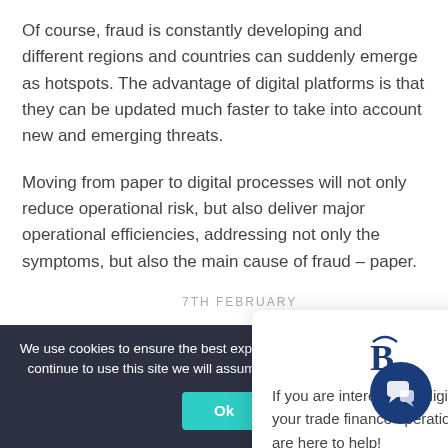Of course, fraud is constantly developing and different regions and countries can suddenly emerge as hotspots. The advantage of digital platforms is that they can be updated much faster to take into account new and emerging threats.
Moving from paper to digital processes will not only reduce operational risk, but also deliver major operational efficiencies, addressing not only the symptoms, but also the main cause of fraud – paper.
7TH FEBRUARY
[Figure (other): Popup chat widget with brand letter B icon at top, close X button, and text: If you are interested in digitising your trade finance operations we are here to help!]
We use cookies to ensure the best experience on our website. If you continue to use this site we will assume that you are happy with it.
Ok